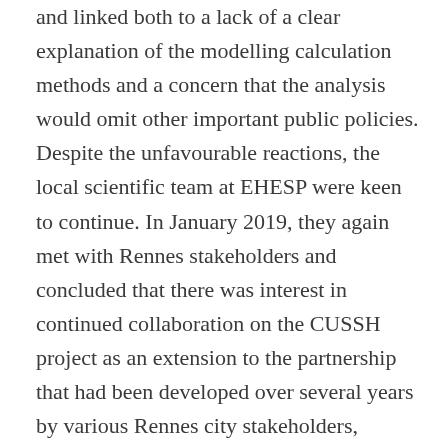and linked both to a lack of a clear explanation of the modelling calculation methods and a concern that the analysis would omit other important public policies. Despite the unfavourable reactions, the local scientific team at EHESP were keen to continue. In January 2019, they again met with Rennes stakeholders and concluded that there was interest in continued collaboration on the CUSSH project as an extension to the partnership that had been developed over several years by various Rennes city stakeholders, notably through the RBUS network. Exchanges with the research team then focused on improving the application of the CRAFT tool, which established a collaborative platform to exchange ideas and share information.